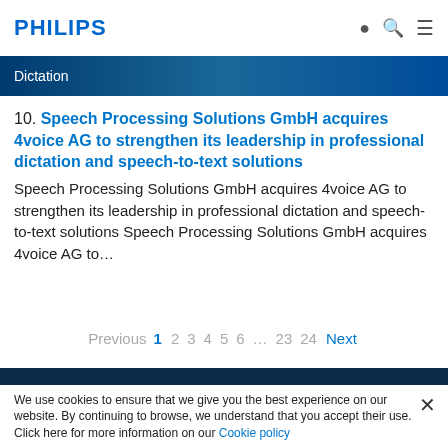PHILIPS
Dictation
10. Speech Processing Solutions GmbH acquires 4voice AG to strengthen its leadership in professional dictation and speech-to-text solutions
Speech Processing Solutions GmbH acquires 4voice AG to strengthen its leadership in professional dictation and speech-to-text solutions Speech Processing Solutions GmbH acquires 4voice AG to…
Previous 1 2 3 4 5 6 … 23 24 Next
We use cookies to ensure that we give you the best experience on our website. By continuing to browse, we understand that you accept their use. Click here for more information on our Cookie policy